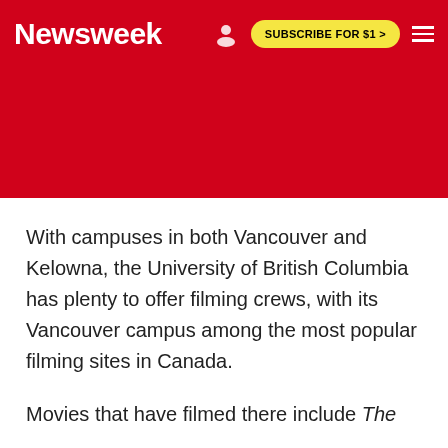Newsweek  SUBSCRIBE FOR $1 >
With campuses in both Vancouver and Kelowna, the University of British Columbia has plenty to offer filming crews, with its Vancouver campus among the most popular filming sites in Canada.
Movies that have filmed there include The